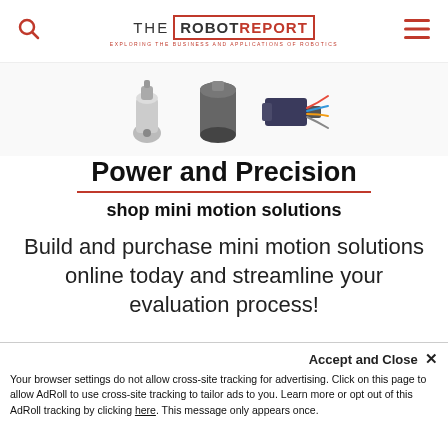THE ROBOT REPORT - EXPLORING THE BUSINESS AND APPLICATIONS OF ROBOTICS
[Figure (photo): Three mini motion solution products: a small motor/gearhead assembly, a cylindrical actuator, and a linear actuator with colored wires]
Power and Precision
shop mini motion solutions
Build and purchase mini motion solutions online today and streamline your evaluation process!
Accept and Close ✕
Your browser settings do not allow cross-site tracking for advertising. Click on this page to allow AdRoll to use cross-site tracking to tailor ads to you. Learn more or opt out of this AdRoll tracking by clicking here. This message only appears once.